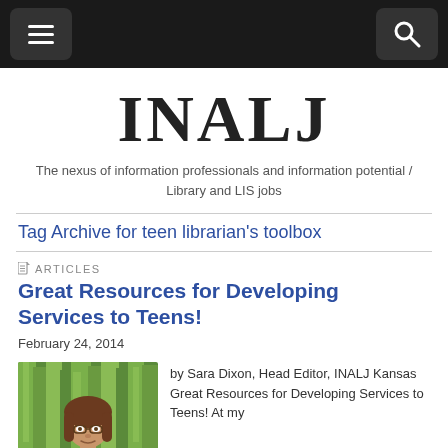INALJ navigation bar with menu and search icons
INALJ
The nexus of information professionals and information potential / Library and LIS jobs
Tag Archive for teen librarian's toolbox
ARTICLES
Great Resources for Developing Services to Teens!
February 24, 2014
[Figure (photo): Photo of Sara Dixon, a woman with glasses and long hair, in front of a green forested background]
by Sara Dixon, Head Editor, INALJ Kansas Great Resources for Developing Services to Teens! At my